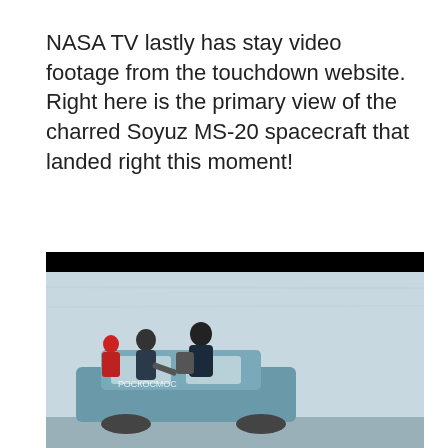NASA TV lastly has stay video footage from the touchdown website. Right here is the primary view of the charred Soyuz MS-20 spacecraft that landed right this moment!
[Figure (photo): Video still from NASA TV showing ground crew personnel in winter clothing standing on top of vehicles in a snowy/overcast outdoor setting near the Soyuz MS-20 spacecraft landing site. A microphone boom is visible on the right side.]